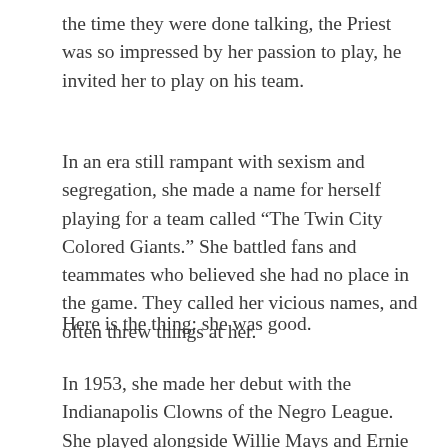the time they were done talking, the Priest was so impressed by her passion to play, he invited her to play on his team.
In an era still rampant with sexism and segregation, she made a name for herself playing for a team called “The Twin City Colored Giants.” She battled fans and teammates who believed she had no place in the game. They called her vicious names, and often threw things at her.
Here is the thing: she was good.
In 1953, she made her debut with the Indianapolis Clowns of the Negro League. She played alongside Willie Mays and Ernie Banks, and even got a hit off of Satchel Paige.